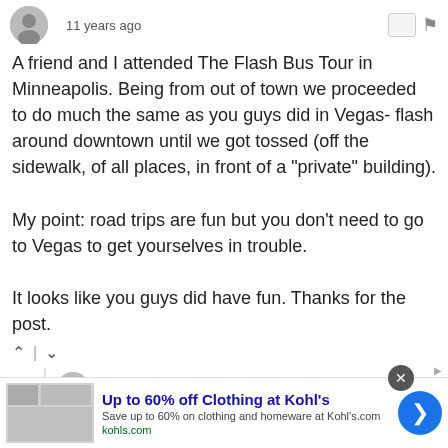11 years ago
A friend and I attended The Flash Bus Tour in Minneapolis. Being from out of town we proceeded to do much the same as you guys did in Vegas- flash around downtown until we got tossed (off the sidewalk, of all places, in front of a "private" building).

My point: road trips are fun but you don't need to go to Vegas to get yourselves in trouble.

It looks like you guys did have fun. Thanks for the post.
udijw → iamunique127
11 years ago
Now you're juts flaunting...
Up to 60% off Clothing at Kohl's
Save up to 60% on clothing and homeware at Kohl's.com
kohls.com